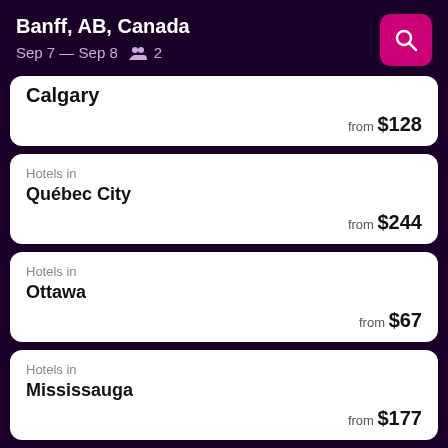Banff, AB, Canada
Sep 7 — Sep 8  2
Hotels in Calgary
from $128
Hotels in Québec City
from $244
Hotels in Ottawa
from $67
Hotels in Mississauga
from $177
Hotels in Victoria
from $66